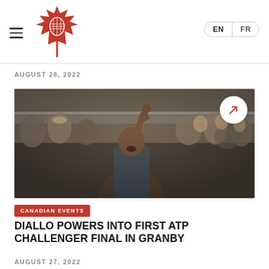Tennis Canada — EN / FR
AUGUST 28, 2022
[Figure (photo): A tennis player celebrating with fist raised, mouth open in a shout, surrounded by a crowd of spectators in the background. There is a white circular arrow button overlaid in the top-right of the photo.]
CANADIAN EVENTS
DIALLO POWERS INTO FIRST ATP CHALLENGER FINAL IN GRANBY
AUGUST 27, 2022